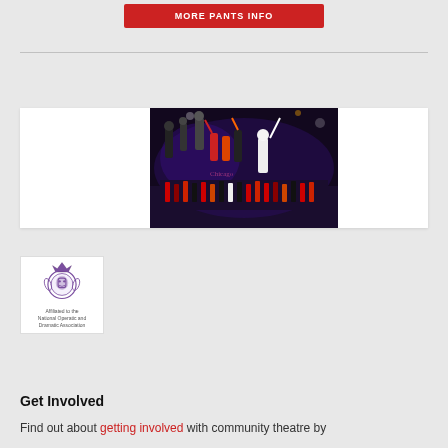[Figure (other): Red button labeled MORE PANTS INFO at the top of the page]
[Figure (photo): Theatrical stage performance photo showing a large cast in colorful costumes on a dark stage with purple lighting, with a group finale scene]
[Figure (logo): NODA logo - National Operatic and Dramatic Association crest with text 'Affiliated to the National Operatic and Dramatic Association']
Get Involved
Find out about getting involved with community theatre by